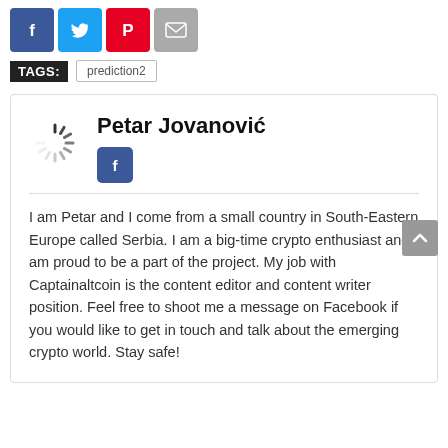[Figure (infographic): Row of four social share icon buttons: Facebook (blue), Twitter (light blue), Pinterest (red), Email (gray)]
TAGS: prediction2
Petar Jovanović
[Figure (logo): Facebook icon button (blue square with white 'f')]
I am Petar and I come from a small country in South-Eastern Europe called Serbia. I am a big-time crypto enthusiast and I am proud to be a part of the project. My job with Captainaltcoin is the content editor and content writer position. Feel free to shoot me a message on Facebook if you would like to get in touch and talk about the emerging crypto world. Stay safe!